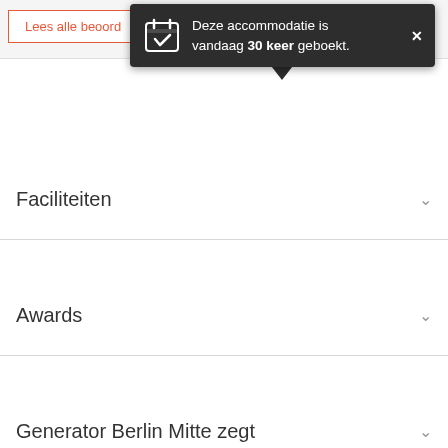Lees alle beoord...
[Figure (screenshot): Dark tooltip popup showing a calendar/checkbox icon with text: 'Deze accommodatie is vandaag 30 keer geboekt.' and a close (×) button]
Faciliteiten
Awards
Generator Berlin Mitte zegt